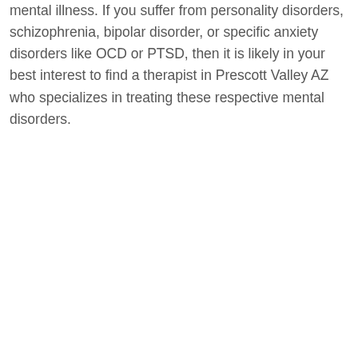mental illness. If you suffer from personality disorders, schizophrenia, bipolar disorder, or specific anxiety disorders like OCD or PTSD, then it is likely in your best interest to find a therapist in Prescott Valley AZ who specializes in treating these respective mental disorders.